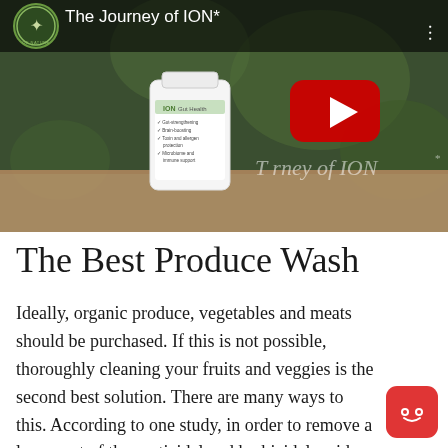[Figure (screenshot): YouTube video thumbnail showing 'The Journey of ION*' with a white ION Gut Health supplement bottle on a wooden surface against a green blurred background. A red YouTube play button is visible in the center. The channel logo (Intelligence of Nature) is in the top left with the video title.]
The Best Produce Wash
Ideally, organic produce, vegetables and meats should be purchased. If this is not possible, thoroughly cleaning your fruits and veggies is the second best solution. There are many ways to this. According to one study, in order to remove a large part of the pesticidal and herbicidal residue